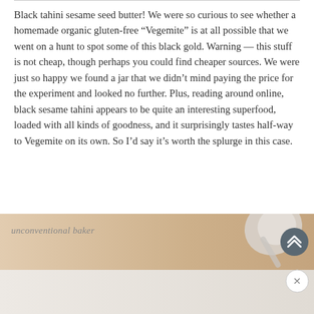Black tahini sesame seed butter! We were so curious to see whether a homemade organic gluten-free “Vegemite” is at all possible that we went on a hunt to spot some of this black gold. Warning — this stuff is not cheap, though perhaps you could find cheaper sources. We were just so happy we found a jar that we didn’t mind paying the price for the experiment and looked no further. Plus, reading around online, black sesame tahini appears to be quite an interesting superfood, loaded with all kinds of goodness, and it surprisingly tastes half-way to Vegemite on its own. So I’d say it’s worth the splurge in this case.
[Figure (photo): Advertisement banner for 'unconventional baker' website showing a beige/cream colored background with a silver spoon visible in the upper right, and a scroll-to-top button (dark circle with upward chevrons). Below is a lighter section showing what appears to be a food photo. An X close button is also visible.]